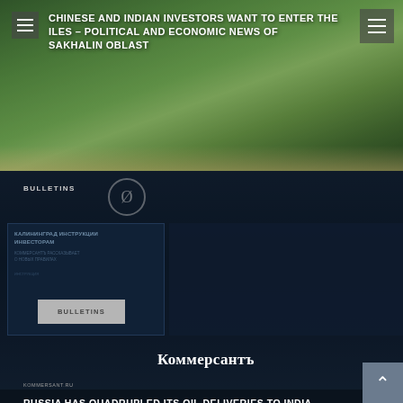[Figure (screenshot): Aerial/coastal green landscape photo with navigation menu overlaid, showing headline text about Chinese and Indian investors wanting to enter the Sakhalin Oblast oil files.]
CHINESE AND INDIAN INVESTORS WANT TO ENTER THE ILES – POLITICAL AND ECONOMIC NEWS OF SAKHALIN OBLAST
[Figure (screenshot): Dark overlay bulletin card section featuring Kommersant logo and headline about Russia quadrupling oil deliveries to India, with BULLETINS label and card thumbnails.]
BULLETINS
RUSSIA HAS QUADRUPLED ITS OIL DELIVERIES TO INDIA
BULLETINS